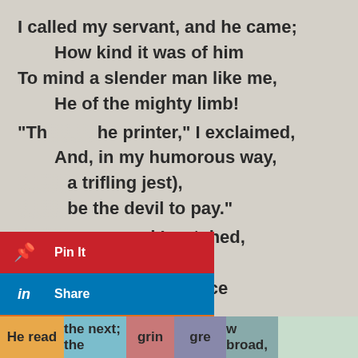I called my servant, and he came;
    How kind it was of him
To mind a slender man like me,
    He of the mighty limb!

"Th[...] he printer," I exclaimed,
    And, in my humorous way,
[...] a trifling jest),
[...] be the devil to pay."

[...] paper, and I watched,
[...] him peep within;
[...] line he read, his face
was all upon the grin.
[Figure (screenshot): Social media share buttons overlay: Pinterest Pin It (red), LinkedIn Share (blue), Blogger Share (orange), Instagram Share (pink/magenta), Goodreads (dark brown), Tumblr Share (dark blue), More (grey)]
He read the next; the grin grew broad,